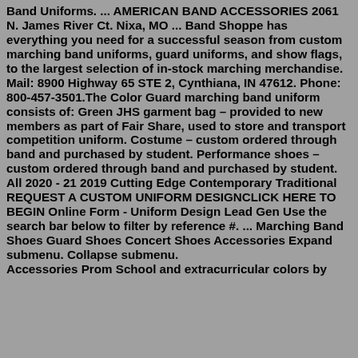Band Uniforms. ... AMERICAN BAND ACCESSORIES 2061 N. James River Ct. Nixa, MO ... Band Shoppe has everything you need for a successful season from custom marching band uniforms, guard uniforms, and show flags, to the largest selection of in-stock marching merchandise. Mail: 8900 Highway 65 STE 2, Cynthiana, IN 47612. Phone: 800-457-3501.The Color Guard marching band uniform consists of: Green JHS garment bag – provided to new members as part of Fair Share, used to store and transport competition uniform. Costume – custom ordered through band and purchased by student. Performance shoes – custom ordered through band and purchased by student. All 2020 - 21 2019 Cutting Edge Contemporary Traditional REQUEST A CUSTOM UNIFORM DESIGNCLICK HERE TO BEGIN Online Form - Uniform Design Lead Gen Use the search bar below to filter by reference #. ... Marching Band Shoes Guard Shoes Concert Shoes Accessories Expand submenu. Collapse submenu. Accessories Prom School and extracurricular colors by...